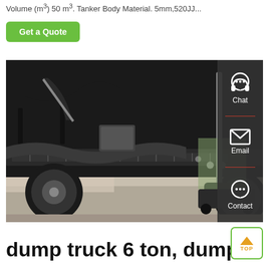Volume (m³) 50 m³. Tanker Body Material. 5mm,520JJ...
Get a Quote
[Figure (photo): Underside view of a heavy truck chassis showing axles, suspension components, hydraulic lines, and tires. A sedan car is visible in the background. A dark semi-transparent sidebar overlay on the right shows Chat, Email, and Contact icons.]
dump truck 6 ton, dump...